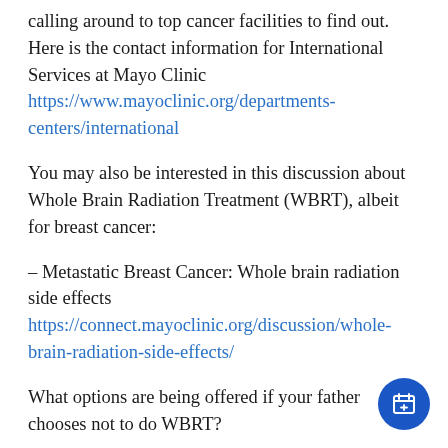calling around to top cancer facilities to find out. Here is the contact information for International Services at Mayo Clinic https://www.mayoclinic.org/departments-centers/international
You may also be interested in this discussion about Whole Brain Radiation Treatment (WBRT), albeit for breast cancer:
– Metastatic Breast Cancer: Whole brain radiation side effects https://connect.mayoclinic.org/discussion/whole-brain-radiation-side-effects/
What options are being offered if your father chooses not to do WBRT?